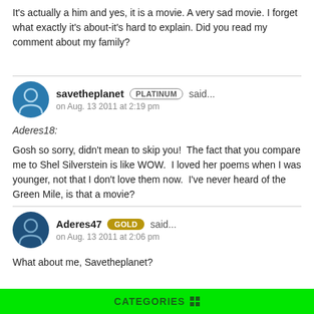It's actually a him and yes, it is a movie. A very sad movie. I forget what exactly it's about-it's hard to explain. Did you read my comment about my family?
savetheplanet PLATINUM said... on Aug. 13 2011 at 2:19 pm
Aderes18:
Gosh so sorry, didn't mean to skip you!  The fact that you compare me to Shel Silverstein is like WOW.  I loved her poems when I was younger, not that I don't love them now.  I've never heard of the Green Mile, is that a movie?
Aderes47 GOLD said... on Aug. 13 2011 at 2:06 pm
What about me, Savetheplanet?
CATEGORIES